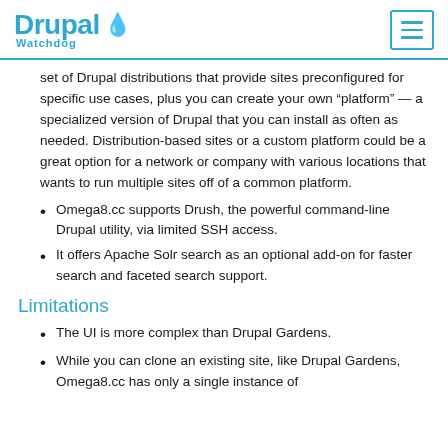Drupal Watchdog
set of Drupal distributions that provide sites preconfigured for specific use cases, plus you can create your own “platform” — a specialized version of Drupal that you can install as often as needed. Distribution-based sites or a custom platform could be a great option for a network or company with various locations that wants to run multiple sites off of a common platform.
Omega8.cc supports Drush, the powerful command-line Drupal utility, via limited SSH access.
It offers Apache Solr search as an optional add-on for faster search and faceted search support.
Limitations
The UI is more complex than Drupal Gardens.
While you can clone an existing site, like Drupal Gardens, Omega8.cc has only a single instance of